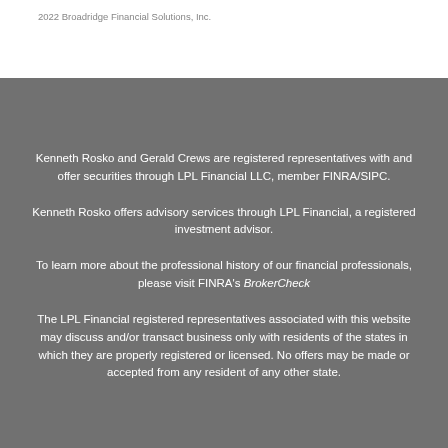2022 Broadridge Financial Solutions, Inc.
Kenneth Rosko and Gerald Crews are registered representatives with and offer securities through LPL Financial LLC, member FINRA/SIPC.
Kenneth Rosko offers advisory services through LPL Financial, a registered investment advisor.
To learn more about the professional history of our financial professionals, please visit FINRA's BrokerCheck
The LPL Financial registered representatives associated with this website may discuss and/or transact business only with residents of the states in which they are properly registered or licensed. No offers may be made or accepted from any resident of any other state.